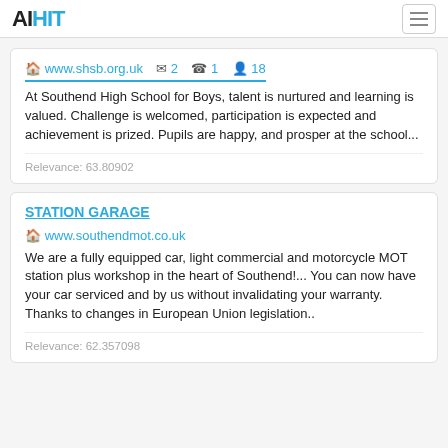AIHIT
www.shsb.org.uk  2  1  18
At Southend High School for Boys, talent is nurtured and learning is valued. Challenge is welcomed, participation is expected and achievement is prized. Pupils are happy, and prosper at the school...
Relevance: 63.80902
STATION GARAGE
www.southendmot.co.uk
We are a fully equipped car, light commercial and motorcycle MOT station plus workshop in the heart of Southend!... You can now have your car serviced and by us without invalidating your warranty. Thanks to changes in European Union legislation..
Relevance: 62.357098